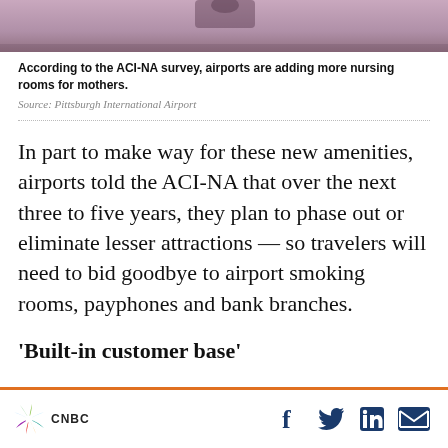[Figure (photo): Top portion of a photo, likely showing an airport or outdoor scene with pinkish/purple tones]
According to the ACI-NA survey, airports are adding more nursing rooms for mothers.
Source: Pittsburgh International Airport
In part to make way for these new amenities, airports told the ACI-NA that over the next three to five years, they plan to phase out or eliminate lesser attractions — so travelers will need to bid goodbye to airport smoking rooms, payphones and bank branches.
'Built-in customer base'
CNBC [logo] | social icons: Facebook, Twitter, LinkedIn, Email